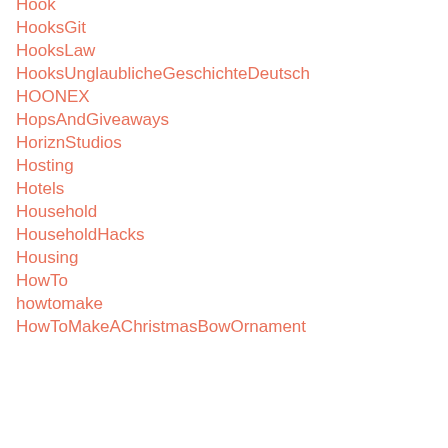Hook
HooksGit
HooksLaw
HooksUnglaublicheGeschichteDeutsch
HOONEX
HopsAndGiveaways
HoriznStudios
Hosting
Hotels
Household
HouseholdHacks
Housing
HowTo
howtomake
HowToMakeAChristmasBowOrnament